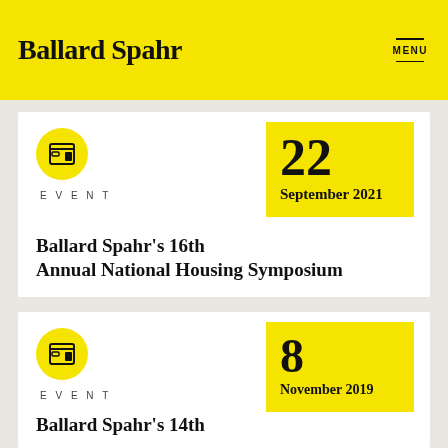Ballard Spahr | MENU
EVENT
22 September 2021
Ballard Spahr's 16th Annual National Housing Symposium
EVENT
8 November 2019
Ballard Spahr's 14th